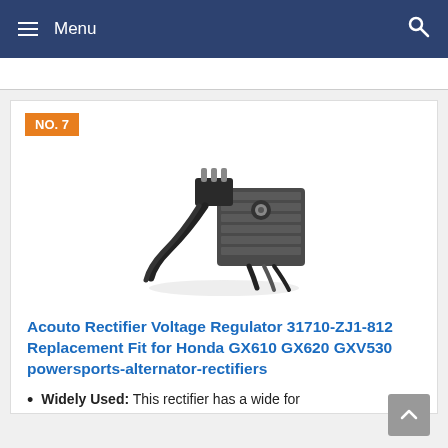Menu
NO. 7
[Figure (photo): Photo of a voltage regulator rectifier unit with heat sink fins and black wiring harness with connectors]
Acouto Rectifier Voltage Regulator 31710-ZJ1-812 Replacement Fit for Honda GX610 GX620 GXV530 powersports-alternator-rectifiers
Widely Used: This rectifier has a wide for